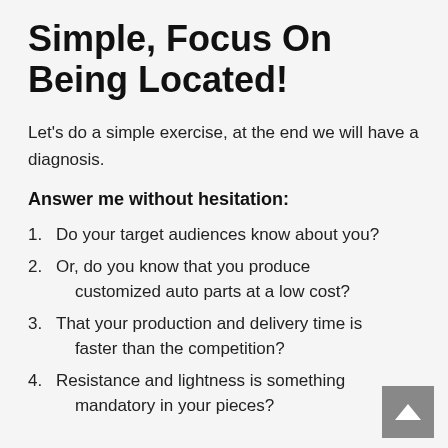Simple, Focus On Being Located!
Let's do a simple exercise, at the end we will have a diagnosis.
Answer me without hesitation:
Do your target audiences know about you?
Or, do you know that you produce customized auto parts at a low cost?
That your production and delivery time is faster than the competition?
Resistance and lightness is something mandatory in your pieces?